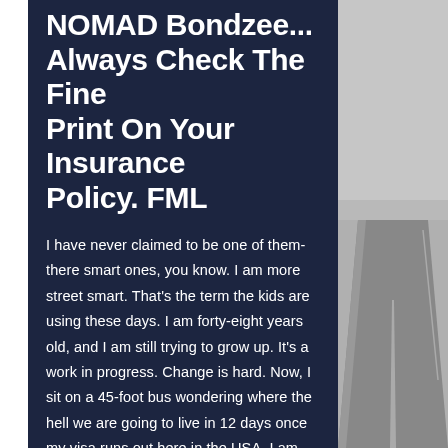NOMAD Bondzee... Always Check The Fine Print On Your Insurance Policy. FML
I have never claimed to be one of them-there smart ones, you know. I am more street smart. That's the term the kids are using these days. I am forty-eight years old, and I am still trying to grow up. It's a work in progress. Change is hard. Now, I sit on a 45-foot bus wondering where the hell we are going to live in 12 days once my visa runs out here in the USA. I am not as dumb as I may look or seem.
[Figure (photo): Grayscale photo of an empty road or highway stretching into the distance, viewed from the side]